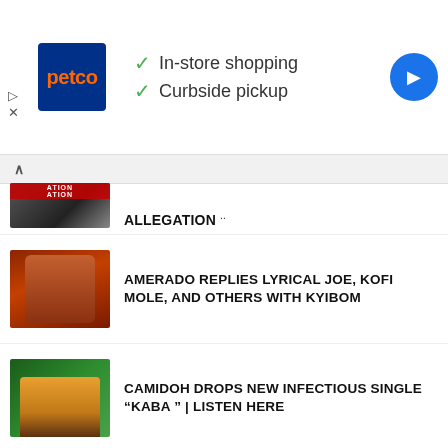[Figure (screenshot): Petco advertisement banner with logo, checkmarks for In-store shopping and Curbside pickup, and navigation icon]
ALLEGATION
AMERADO REPLIES LYRICAL JOE, KOFI MOLE, AND OTHERS WITH KYIBOM
CAMIDOH DROPS NEW INFECTIOUS SINGLE “KABA ” | LISTEN HERE
WATCH: SANTROFI MUSIC DROPS VISUALS FOR ALEWA (BLACK AND WHITE )